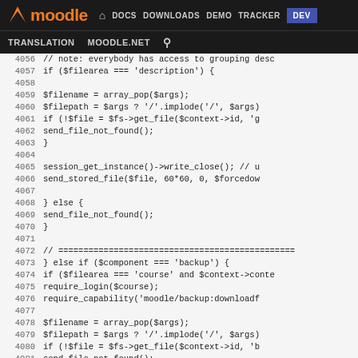[Figure (screenshot): Moodle developer documentation website navigation bar with logo and nav links: DOCS, DOWNLOADS, DEMO, TRACKER, DEV (active), TRANSLATION, MOODLE.NET, search icon]
Code viewer showing PHP source lines 4056-4081 from a Moodle file serving function, including grouping description access, file retrieval, session handling, backup component checks, and capability requirements.